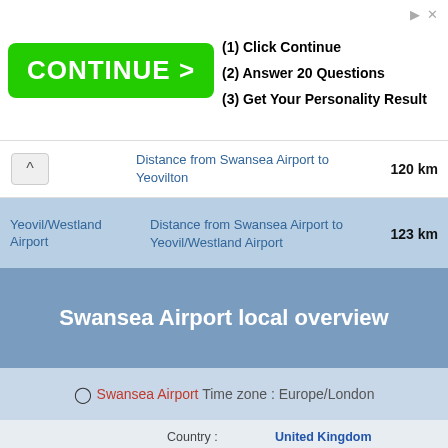[Figure (screenshot): Advertisement banner with green CONTINUE button and steps: (1) Click Continue, (2) Answer 20 Questions, (3) Get Your Personality Result]
| Location | Description | Distance |
| --- | --- | --- |
| (partial) | Distance from Swansea Airport to Yeovilton | 120 km |
| Yeovil/Westland Airport | Distance from Swansea Airport to Yeovil/Westland Airport | 123 km |
Swansea Airport local overview
Swansea Airport Time zone : Europe/London
| Field | Value |
| --- | --- |
| Country : | United Kingdom |
| Capital : | London |
| Population : | 0 |
| Iso code : | GB / GBR |
| Dialing code : | +44 / 0044 |